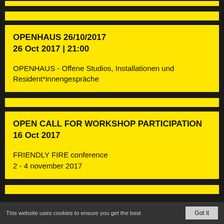[Figure (other): Yellow horizontal bar at top, partial view]
[Figure (other): Yellow horizontal bar, second row]
OPENHAUS 26/10/2017
26 Oct 2017 | 21:00
OPENHAUS - Offene Studios, Installationen und Resident*innengespräche
[Figure (other): Yellow horizontal bar separator]
OPEN CALL FOR WORKSHOP PARTICIPATION
16 Oct 2017
FRIENDLY FIRE conference
2 - 4 november 2017
[Figure (other): Yellow horizontal bar, bottom section partial]
This website uses cookies to ensure you get the best